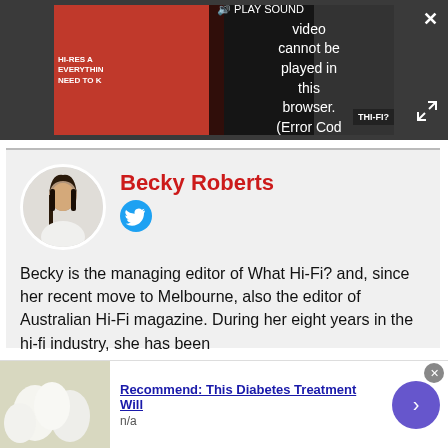[Figure (screenshot): Video player showing error message: 'Video cannot be played in this browser. (Error Cod' with PLAY SOUND button and close/expand controls. Background shows red HI-RES branding and THI-FI? badge.]
Becky Roberts
Becky is the managing editor of What Hi-Fi? and, since her recent move to Melbourne, also the editor of Australian Hi-Fi magazine. During her eight years in the hi-fi industry, she has been
[Figure (infographic): Advertisement banner: 'Recommend: This Diabetes Treatment Will' with n/a subtitle, eggs image on left, navigation arrow on right.]